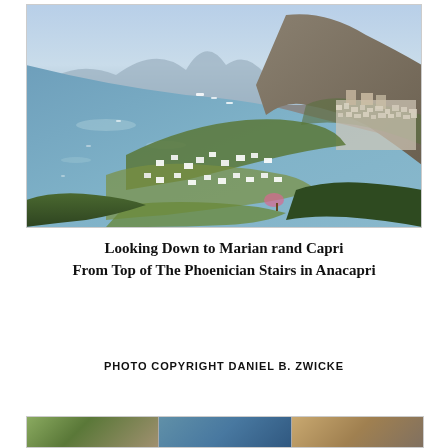[Figure (photo): Aerial view looking down over the coastline of Capri and Marina Grande from the top of the Phoenician Stairs in Anacapri. The blue Mediterranean sea fills the left and upper portions, with boats visible. Lush green hillside and village buildings fill the lower right.]
Looking Down to Marian rand Capri From Top of The Phoenician Stairs in Anacapri
PHOTO COPYRIGHT DANIEL B. ZWICKE
[Figure (photo): Bottom strip showing partial thumbnail images of three additional photos.]